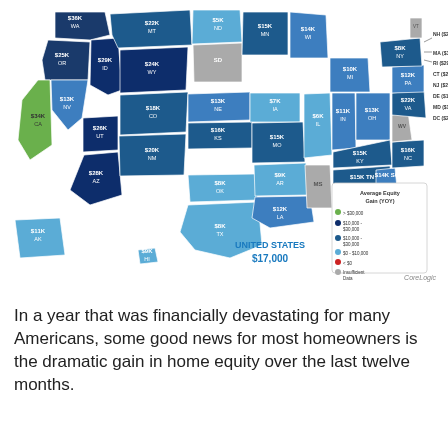[Figure (map): US choropleth map showing average home equity gain (YOY) by state, with values labeled for each state. Color legend: green = >$30,000, dark navy = $10,000-$30,000, medium blue = $10,000-$30,000, light blue = $0-$10,000, red = <$0, gray = Insufficient Data. National average: $17,000. States labeled with values like WA $36K, OR $25K, CA $34K, NV $13K, AZ $28K, MT $22K, ID $29K, WY $24K, UT $26K, CO $18K, NM $20K, TX $8K, ND $5K, SD (gray), NE $13K, KS $16K, OK $8K, MN $15K, IA $7K, MO $15K, AR $9K, LA $12K, WI $14K, IL $6K, MI $10K, IN $11K, KY $15K, TN $15K, MS (gray), AL $10K, OH $13K, WV (gray), VA $22K, NC $16K, SC $14K, GA $13K, FL $14K, PA $12K, NY $8K, VT (gray), NH $27K, MA $31K, RI $29K, CT $22K, NJ $21K, DE $13K, MD $16K, DC $25K, AK $11K, HI $9K]
'
In a year that was financially devastating for many Americans, some good news for most homeowners is the dramatic gain in home equity over the last twelve months.